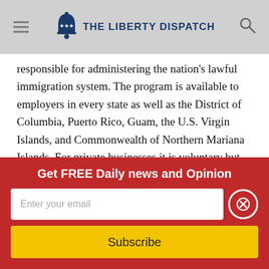The Liberty Dispatch
responsible for administering the nation's lawful immigration system. The program is available to employers in every state as well as the District of Columbia, Puerto Rico, Guam, the U.S. Virgin Islands, and Commonwealth of Northern Mariana Islands. For private businesses it is voluntary but federal contractors and subcontractors must use it to vet workers. The government claims E-Verify is “currently the best means available to electronically confirm employment eligibility.”

That is distressing considering the lapses that have been well documented over the years. The most recent E-Verify
Get FREE Daily news and Opinion
Enter your email
Subscribe